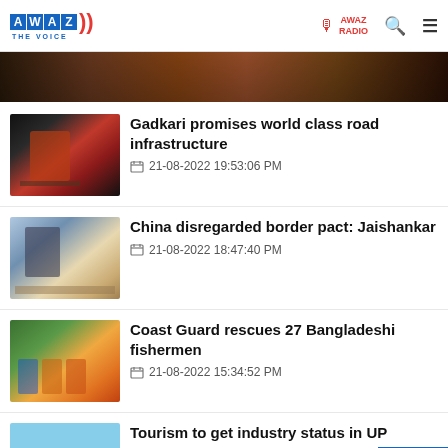AWAZ THE VOICE – AWAZ RADIO
[Figure (photo): Banner image at top of page – dark brownish photo strip]
[Figure (photo): Thumbnail of Gadkari speaking at a podium, wearing a red top]
Gadkari promises world class road infrastructure
21-08-2022 19:53:06 PM
[Figure (photo): Thumbnail of Jaishankar at a podium with Indian flag in background]
China disregarded border pact: Jaishankar
21-08-2022 18:47:40 PM
[Figure (photo): Thumbnail of Coast Guard rescue operation with people in orange vests]
Coast Guard rescues 27 Bangladeshi fishermen
21-08-2022 15:34:52 PM
[Figure (photo): Thumbnail of Taj Mahal]
Tourism to get industry status in UP
21-08-2022 15:52:44 PM